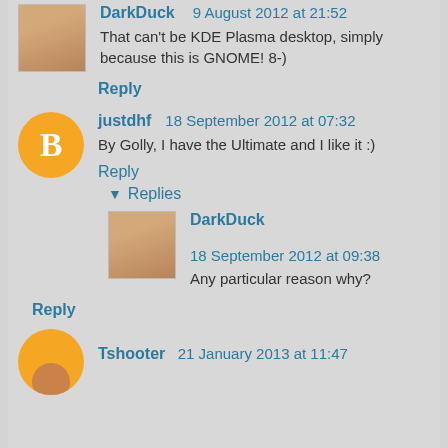DarkDuck  9 August 2012 at 21:52
That can't be KDE Plasma desktop, simply because this is GNOME! 8-)
Reply
justdhf  18 September 2012 at 07:32
By Golly, I have the Ultimate and I like it :)
Reply
Replies
DarkDuck  18 September 2012 at 09:38
Any particular reason why?
Reply
Tshooter  21 January 2013 at 11:47